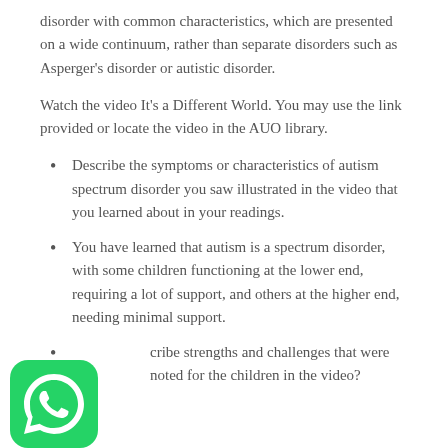disorder with common characteristics, which are presented on a wide continuum, rather than separate disorders such as Asperger's disorder or autistic disorder.
Watch the video It's a Different World. You may use the link provided or locate the video in the AUO library.
Describe the symptoms or characteristics of autism spectrum disorder you saw illustrated in the video that you learned about in your readings.
You have learned that autism is a spectrum disorder, with some children functioning at the lower end, requiring a lot of support, and others at the higher end, needing minimal support.
…cribe strengths and challenges that were noted for the children in the video?
[Figure (logo): WhatsApp logo — green rounded square with white phone handset icon]